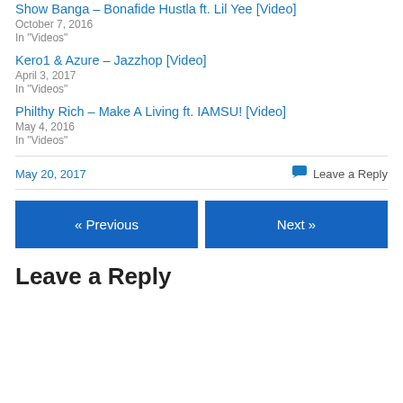Show Banga – Bonafide Hustla ft. Lil Yee [Video]
October 7, 2016
In "Videos"
Kero1 & Azure – Jazzhop [Video]
April 3, 2017
In "Videos"
Philthy Rich – Make A Living ft. IAMSU! [Video]
May 4, 2016
In "Videos"
May 20, 2017
Leave a Reply
« Previous
Next »
Leave a Reply